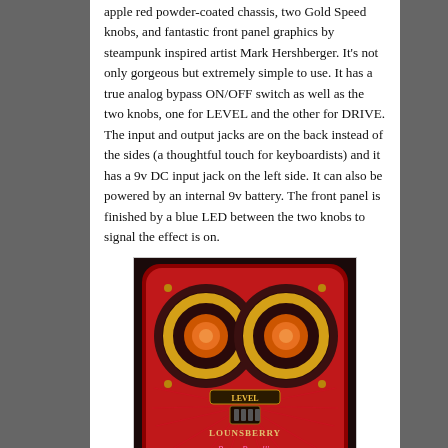apple red powder-coated chassis, two Gold Speed knobs, and fantastic front panel graphics by steampunk inspired artist Mark Hershberger. It's not only gorgeous but extremely simple to use. It has a true analog bypass ON/OFF switch as well as the two knobs, one for LEVEL and the other for DRIVE. The input and output jacks are on the back instead of the sides (a thoughtful touch for keyboardists) and it has a 9v DC input jack on the left side. It can also be powered by an internal 9v battery. The front panel is finished by a blue LED between the two knobs to signal the effect is on.
[Figure (photo): Photo of the Lounsberry Roger Powell's OrganGrinder effects pedal — a red powder-coated metal box with two large gold-ringed dark knobs on top and ornate steampunk-style front panel graphics including the text 'LEVEL', 'LOUNSBERRY', 'Roger Powell's OrganGrinder']